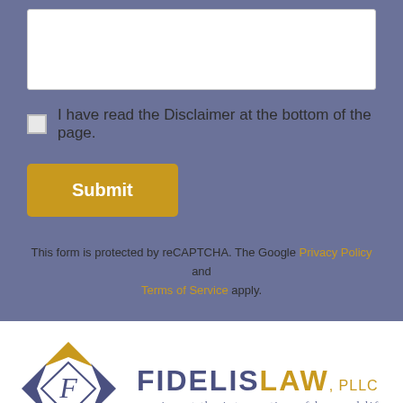[Figure (screenshot): White textarea input box for a web form]
I have read the Disclaimer at the bottom of the page.
Submit
This form is protected by reCAPTCHA. The Google Privacy Policy and Terms of Service apply.
[Figure (logo): Fidelis Law PLLC logo with diamond shape containing letter F and text reading FIDELISLAW, PLLC serving at the intersection of law and life]